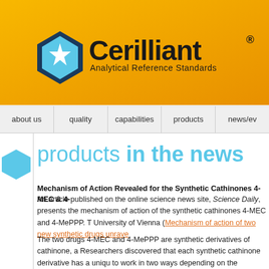[Figure (logo): Cerilliant Analytical Reference Standards logo with hexagon icon on orange/amber background]
about us | quality | capabilities | products | news/ev
products in the news
Mechanism of Action Revealed for the Synthetic Cathinones 4-MEC & 4-
An article published on the online science news site, Science Daily, presents the mechanism of action of the synthetic cathinones 4-MEC and 4-MePPP. T University of Vienna (Mechanism of action of two new synthetic drugs unrave
The two drugs 4-MEC and 4-MePPP are synthetic derivatives of cathinone, a Researchers discovered that each synthetic cathinone derivative has a uniqu to work in two ways depending on the neurotransmitter it binds to in the brain